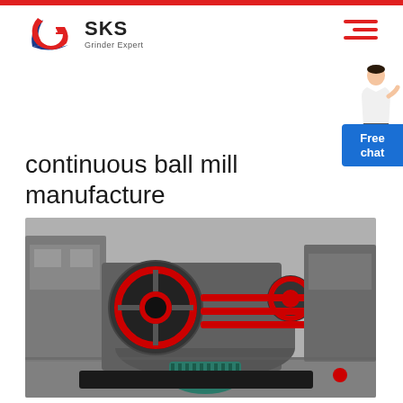[Figure (logo): SKS Grinder Expert logo with stylized G emblem in red and blue]
continuous ball mill manufacture
[Figure (photo): Industrial ball mill machinery in a manufacturing facility, showing large grey metal grinding machines with red circular flywheels, red rod supports, and a teal/green electric motor in the foreground]